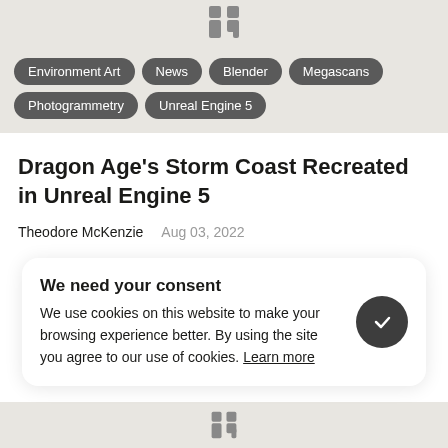[Figure (logo): Dark gray stylized logo icon at top center]
Environment Art
News
Blender
Megascans
Photogrammetry
Unreal Engine 5
Dragon Age's Storm Coast Recreated in Unreal Engine 5
Theodore McKenzie   Aug 03, 2022
We need your consent
We use cookies on this website to make your browsing experience better. By using the site you agree to our use of cookies. Learn more
[Figure (logo): Dark gray stylized logo icon at bottom center]